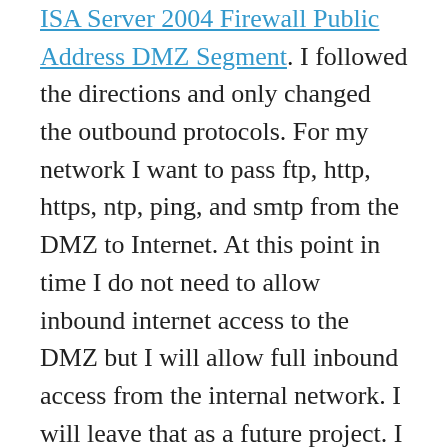ISA Server 2004 Firewall Public Address DMZ Segment. I followed the directions and only changed the outbound protocols. For my network I want to pass ftp, http, https, ntp, ping, and smtp from the DMZ to Internet. At this point in time I do not need to allow inbound internet access to the DMZ but I will allow full inbound access from the internal network. I will leave that as a future project. I did change my access rule for the Protected Networks as recommended by Amy in DMZ – SBS special considerations.
The DMZ network is now up and running. I have one linux server running on the DMZ. It is running Groundworks and is connected via the